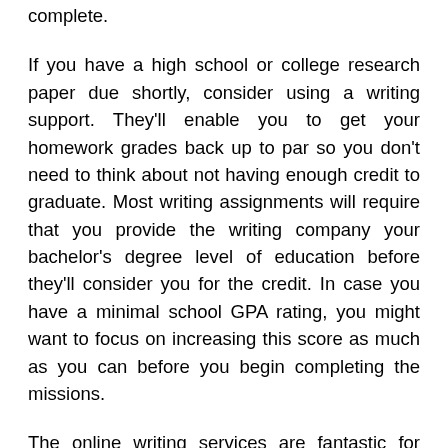complete.
If you have a high school or college research paper due shortly, consider using a writing support. They'll enable you to get your homework grades back up to par so you don't need to think about not having enough credit to graduate. Most writing assignments will require that you provide the writing company your bachelor's degree level of education before they'll consider you for the credit. In case you have a minimal school GPA rating, you might want to focus on increasing this score as much as you can before you begin completing the missions.
The online writing services are fantastic for busy parents, pupils, and working professionals who must make credit to graduate. It is also a great alternative for students who may have to write brief reports, term papers, papers, and other sorts of written works in their courses. These solutions may be used for